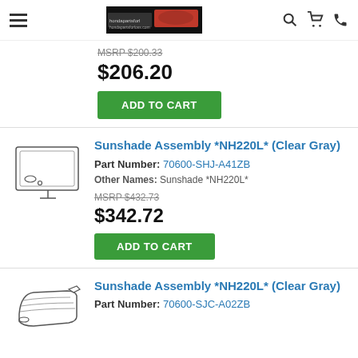Honda Parts For Less - navigation header with logo, search, cart, and phone icons
MSRP $200.33
$206.20
ADD TO CART
Sunshade Assembly *NH220L* (Clear Gray)
Part Number: 70600-SHJ-A41ZB
Other Names: Sunshade *NH220L*
MSRP $432.73
$342.72
ADD TO CART
[Figure (illustration): Line drawing of a sunshade assembly panel viewed from above with mounting tabs]
Sunshade Assembly *NH220L* (Clear Gray)
Part Number: 70600-SJC-A02ZB
[Figure (illustration): Line drawing of a rolled sunshade assembly with handle]